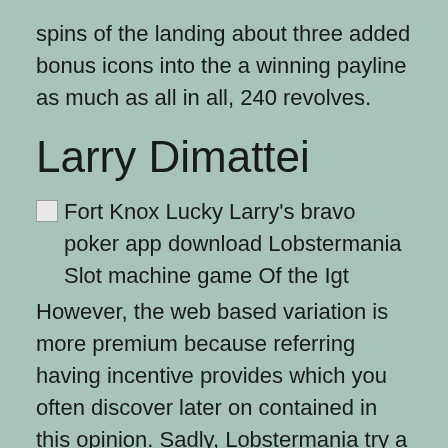spins of the landing about three added bonus icons into the a winning payline as much as all in all, 240 revolves.
Larry Dimattei
[Figure (photo): Broken image placeholder with alt text: Fort Knox Lucky Larry's bravo poker app download Lobstermania Slot machine game Of the Igt]
However, the web based variation is more premium because referring having incentive provides which you often discover later on contained in this opinion. Sadly, Lobstermania try a desktop computer-merely slot machine